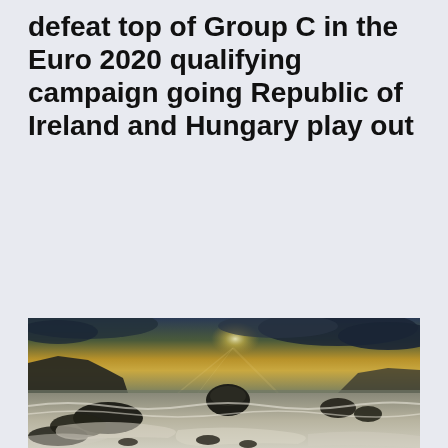defeat top of Group C in the Euro 2020 qualifying campaign going Republic of Ireland and Hungary play out
[Figure (photo): A dramatic seascape at sunset or dusk showing rocky coastline with waves washing over rocks in the foreground, cliffs in the background, and a stormy golden sky with dark clouds and rays of light breaking through.]